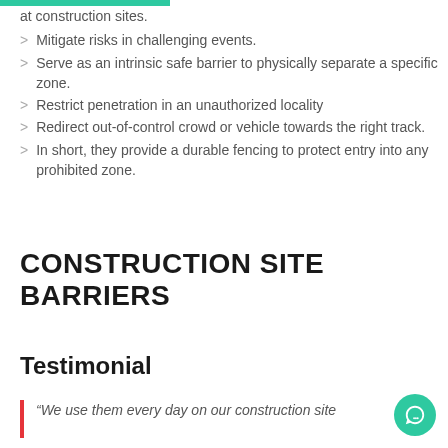at construction sites.
Mitigate risks in challenging events.
Serve as an intrinsic safe barrier to physically separate a specific zone.
Restrict penetration in an unauthorized locality
Redirect out-of-control crowd or vehicle towards the right track.
In short, they provide a durable fencing to protect entry into any prohibited zone.
CONSTRUCTION SITE BARRIERS
Testimonial
“We use them every day on our construction site